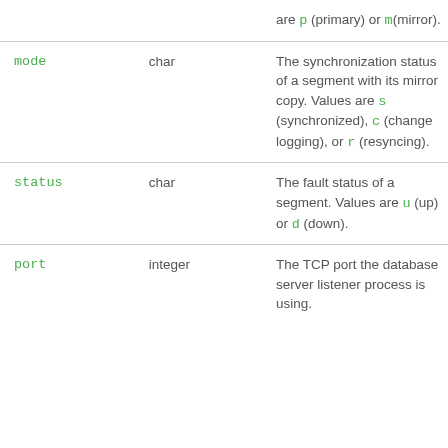| Column | Type | Description |
| --- | --- | --- |
|  |  | are p (primary) or m(mirror). |
| mode | char | The synchronization status of a segment with its mirror copy. Values are s (synchronized), c (change logging), or r (resyncing). |
| status | char | The fault status of a segment. Values are u (up) or d (down). |
| port | integer | The TCP port the database server listener process is using. |